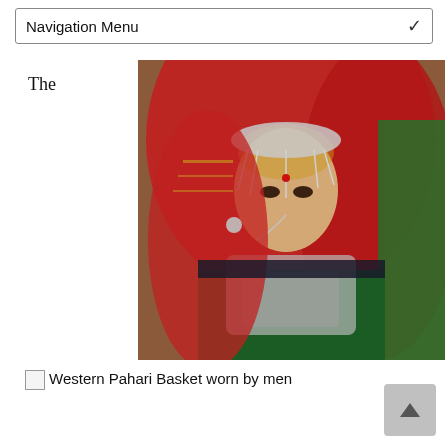Navigation Menu
The
[Figure (photo): A woman wearing traditional Western Pahari costume with elaborate silver jewelry, red dupatta/veil with gold embroidery, green embroidered dress, and ornate headpiece with hanging silver ornaments and nose ring.]
Western Pahari Basket worn by men